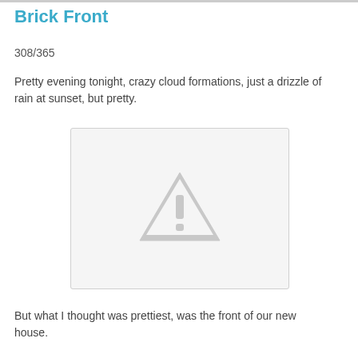Brick Front
308/365
Pretty evening tonight, crazy cloud formations, just a drizzle of rain at sunset, but pretty.
[Figure (photo): Placeholder image with warning triangle icon indicating a missing or unavailable photo]
But what I thought was prettiest, was the front of our new house.